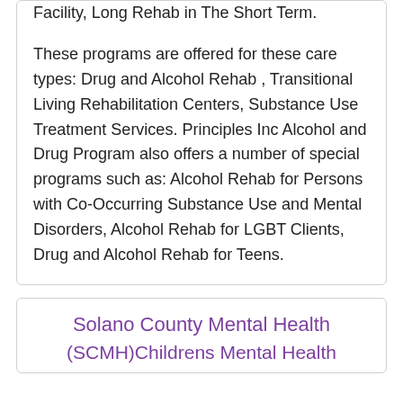Facility, Long Rehab in The Short Term. These programs are offered for these care types: Drug and Alcohol Rehab , Transitional Living Rehabilitation Centers, Substance Use Treatment Services. Principles Inc Alcohol and Drug Program also offers a number of special programs such as: Alcohol Rehab for Persons with Co-Occurring Substance Use and Mental Disorders, Alcohol Rehab for LGBT Clients, Drug and Alcohol Rehab for Teens.
Solano County Mental Health
(SCMH)Childrens Mental Health